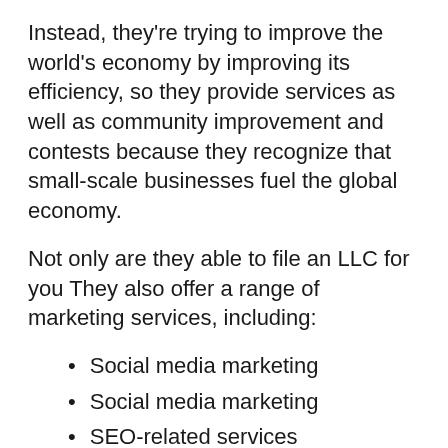Instead, they're trying to improve the world's economy by improving its efficiency, so they provide services as well as community improvement and contests because they recognize that small-scale businesses fuel the global economy.
Not only are they able to file an LLC for you They also offer a range of marketing services, including:
Social media marketing
Social media marketing
SEO-related services
Ad management for Search Engines
Web design services
Logo design services